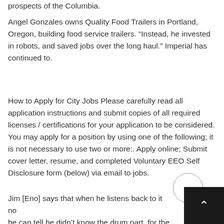prospects of the Columbia.
Angel Gonzales owns Quality Food Trailers in Portland, Oregon, building food service trailers. “Instead, he invested in robots, and saved jobs over the long haul.” Imperial has continued to.
How to Apply for City Jobs Please carefully read all application instructions and submit copies of all required licenses / certifications for your application to be considered. You may apply for a position by using one of the following; it is not necessary to use two or more:. Apply online; Submit cover letter, resume, and completed Voluntary EEO Self Disclosure form (below) via email to jobs.
Jim [Eno] says that when he listens back to it now he can tell he didn’t know the drum part, for the first